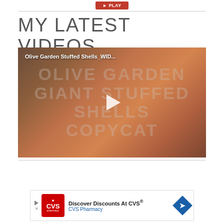[Figure (other): Red button at top center of page]
MY LATEST VIDEOS
[Figure (screenshot): Video thumbnail for 'Olive Garden Stuffed Shells_WID...' showing giant stuffed shells copycat recipe with watermark text and play button overlay]
[Figure (other): CVS Pharmacy advertisement banner: 'Discover Discounts At CVS® — CVS Pharmacy' with CVS logo and navigation arrow icon]